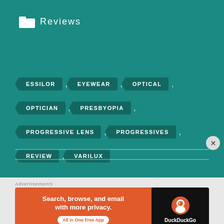Reviews
ESSILOR , EYEWEAR , OPTICAL ,
OPTICIAN , PRESBYOPIA ,
PROGRESSIVE LENS , PROGRESSIVES ,
REVIEW , VARILUX
[Figure (screenshot): DuckDuckGo advertisement banner: Search, browse, and email with more privacy. All in One Free App. DuckDuckGo logo on dark background.]